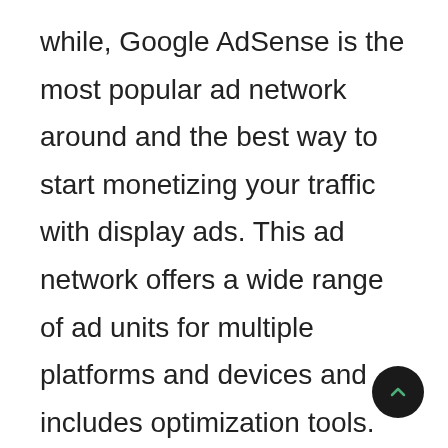while, Google AdSense is the most popular ad network around and the best way to start monetizing your traffic with display ads. This ad network offers a wide range of ad units for multiple platforms and devices and includes optimization tools.
You don't want to apply for an AdSense account only to be rejected because you did not follow the instructions correctly or adhere to their policies. In this guide, we'll show you how to apply for an account in 2019 and beyond, step